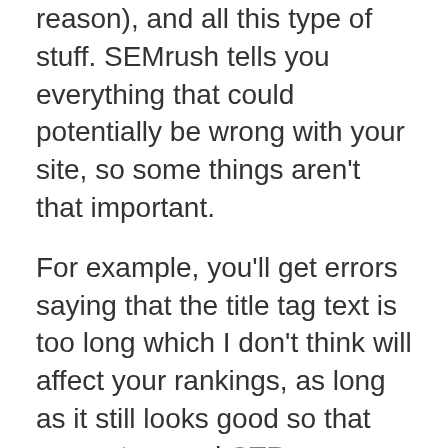reason), and all this type of stuff. SEMrush tells you everything that could potentially be wrong with your site, so some things aren't that important.
For example, you'll get errors saying that the title tag text is too long which I don't think will affect your rankings, as long as it still looks good so that you get a good CTR.  SEMrush will tell you how important each one is, but do use your common sense as well.
It may take a little time, but you want to go through and fix all the big errors. I must admit, I don't really like technical